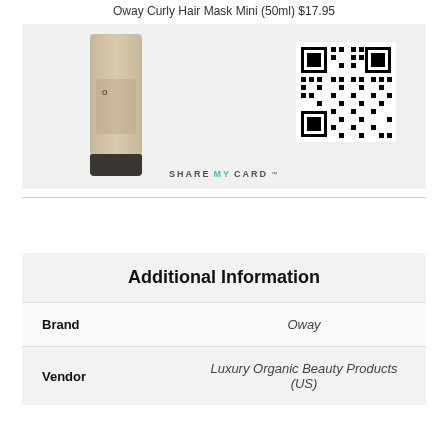[Figure (photo): Product photo of Oway Curly Hair Mask Mini tube (50ml) and QR code with Share My Card branding]
Oway Curly Hair Mask Mini (50ml) $17.95
Additional Information
| Brand | Oway |
| Vendor | Luxury Organic Beauty Products (US) |